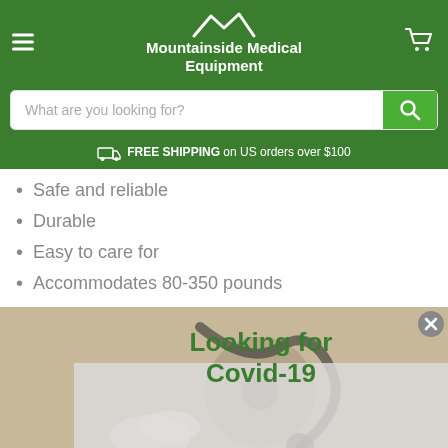Mountainside Medical Equipment
What are you looking for?
FREE SHIPPING on US orders over $100
Safe and reliable
Durable
Easy to care for
Accommodates 80-350 pounds
[Figure (photo): Background photo of medical items on a table with a Covid-19 popup overlay showing 'Looking for Covid-19' text]
Who ca